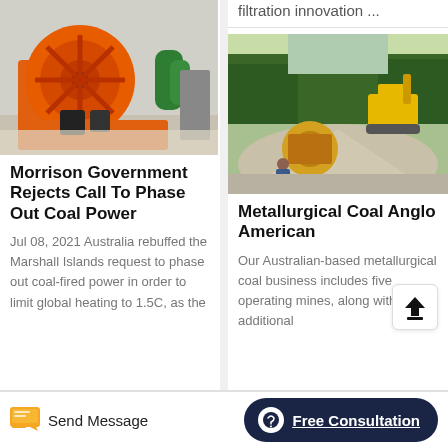[Figure (photo): Orange industrial washing machine equipment in a factory setting]
Morrison Government Rejects Call To Phase Out Coal Power
Jul 08, 2021 Australia rebuffed the Marshall Islands request to phase out coal-fired power in order to limit global heating to 1.5C, as the
filtration innovation ...
[Figure (photo): Mining site with gravel mounds, yellow excavator, and workers outdoors surrounded by trees]
Metallurgical Coal Anglo American
Our Australian-based metallurgical coal business includes five operating mines, along with additional
Send Message
Free Consultation